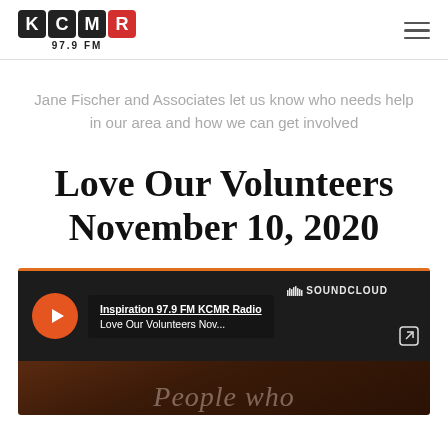KCMR 97.9 FM
Jane Fischer and Associates let us know who needs help in our area and how we can get involved
Love Our Volunteers November 10, 2020
[Figure (screenshot): SoundCloud embedded audio player showing 'Inspiration 97.9 FM KCMR Radio — Love Our Volunteers Nov...' with play button, track info panel, SoundCloud logo, and external link icon. Below is a dark background image with partial cursive text 'People who'.]